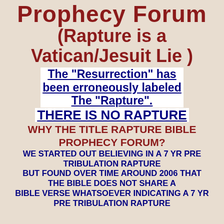Prophecy Forum
(Rapture is a Vatican/Jesuit Lie )
The "Resurrection" has been erroneously labeled The "Rapture". THERE IS NO RAPTURE
WHY THE TITLE RAPTURE BIBLE PROPHECY FORUM?
WE STARTED OUT BELIEVING IN A 7 YR PRE TRIBULATION RAPTURE BUT FOUND OVER TIME AROUND 2006 THAT THE BIBLE DOES NOT SHARE A BIBLE VERSE WHATSOEVER INDICATING A 7 YR PRE TRIBULATION RAPTURE